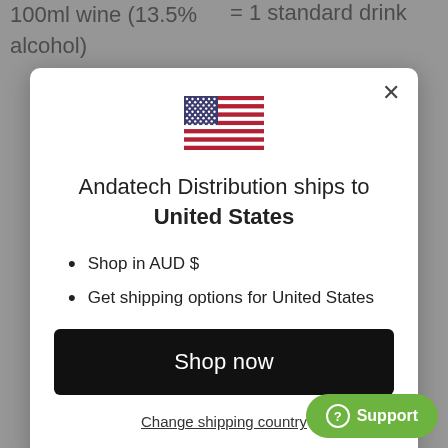100ml wine (13.5% alcohol)
= 1 standard drink
[Figure (illustration): US flag emoji/illustration]
Andatech Distribution ships to United States
Shop in AUD $
Get shipping options for United States
Shop now
Change shipping country
Support